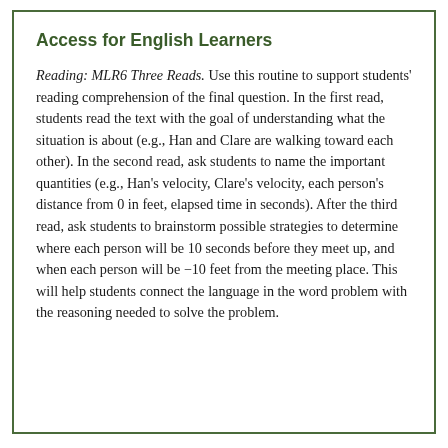Access for English Learners
Reading: MLR6 Three Reads. Use this routine to support students' reading comprehension of the final question. In the first read, students read the text with the goal of understanding what the situation is about (e.g., Han and Clare are walking toward each other). In the second read, ask students to name the important quantities (e.g., Han's velocity, Clare's velocity, each person's distance from 0 in feet, elapsed time in seconds). After the third read, ask students to brainstorm possible strategies to determine where each person will be 10 seconds before they meet up, and when each person will be −10 feet from the meeting place. This will help students connect the language in the word problem with the reasoning needed to solve the problem.